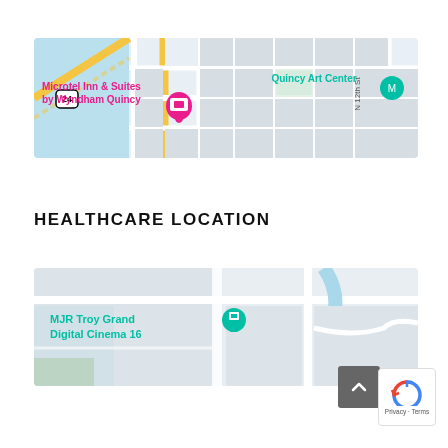[Figure (map): Google Maps street map showing Microtel Inn & Suites by Wyndham Quincy with a pink location pin, Maine St, York St, N 8th St, N 12th St, and Quincy Art Center with a teal pin.]
HEALTHCARE LOCATION
[Figure (map): Google Maps street map showing MJR Troy Grand Digital Cinema 16 with a teal location pin, E Maple Rd, and Rochester Rd.]